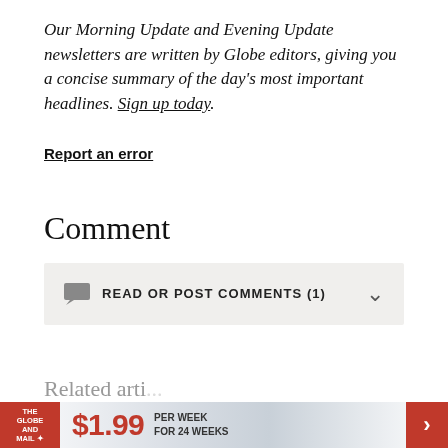Our Morning Update and Evening Update newsletters are written by Globe editors, giving you a concise summary of the day's most important headlines. Sign up today.
Report an error
Comment
READ OR POST COMMENTS (1)
[Figure (infographic): Advertisement banner for The Globe and Mail subscription: $1.99 per week for 24 weeks, with red logo and arrow button]